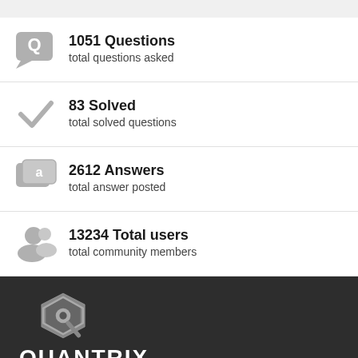1051 Questions — total questions asked
83 Solved — total solved questions
2612 Answers — total answer posted
13234 Total users — total community members
[Figure (logo): Quantrix logo: a 3D hexagonal Q icon in white/grey and the word QUANTRIX in white bold letters on dark background]